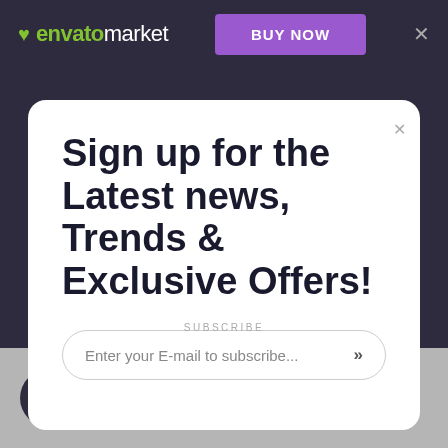envato market | BUY NOW
Sign up for the Latest news, Trends & Exclusive Offers!
Enter your E-mail to subscribe...
SUBSCRIBE
My account